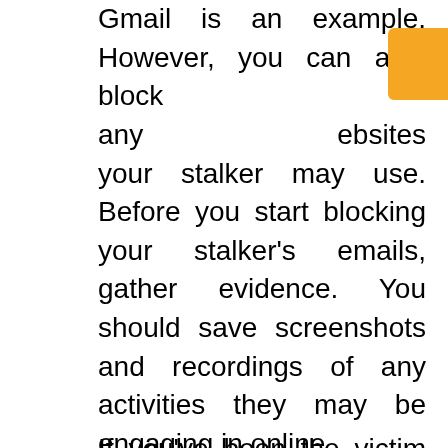Gmail is an example. However, you can also block any websites your stalker may use. Before you start blocking your stalker's emails, gather evidence. You should save screenshots and recordings of any activities they may be engaging in online.
[Figure (other): Orange video ad overlay button with play icon and text 'LIVE PSYCHICS']
If you've been the victim of stalking, it's important to keep track of every contact you have with your stalker. Keep track of every contact you have with your stalker and make copies. These copies can be passed to family members and kept safe in a safety deposit box. You can also use these copies to provide evidence to the police during a stalking incident. Don't forget to save any digital